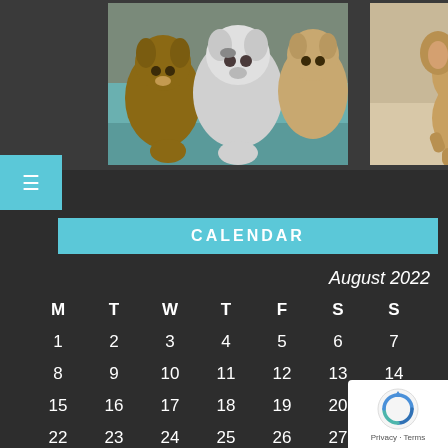[Figure (photo): Group of puppies snuggled in a teal blanket]
[Figure (photo): French bulldog puppy running toward camera]
CALENDAR
August 2022
| M | T | W | T | F | S | S |
| --- | --- | --- | --- | --- | --- | --- |
| 1 | 2 | 3 | 4 | 5 | 6 | 7 |
| 8 | 9 | 10 | 11 | 12 | 13 | 14 |
| 15 | 16 | 17 | 18 | 19 | 20 | 21 |
| 22 | 23 | 24 | 25 | 26 | 27 |  |
| 29 | 30 | 31 |  |  |  |  |